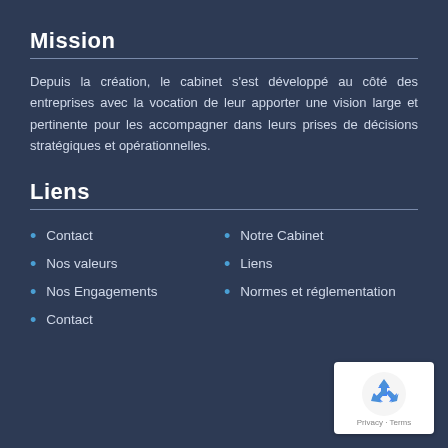Mission
Depuis la création, le cabinet s'est développé au côté des entreprises avec la vocation de leur apporter une vision large et pertinente pour les accompagner dans leurs prises de décisions stratégiques et opérationnelles.
Liens
Contact
Notre Cabinet
Nos valeurs
Liens
Nos Engagements
Normes et réglementation
Contact
[Figure (logo): reCAPTCHA badge with recycling arrow icon and Privacy - Terms text]